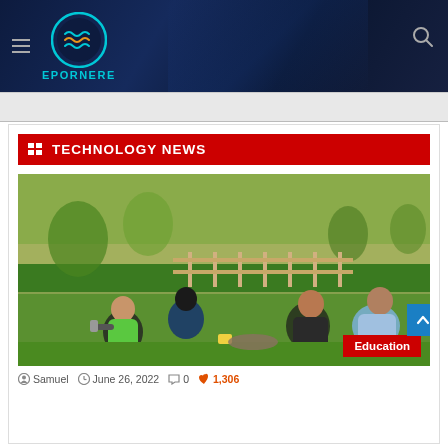EPORNERE
TECHNOLOGY NEWS
[Figure (photo): Four young people sitting on grass in a park, one talking on phone, outdoor setting with trees and hedges in background. Education category badge visible at bottom right.]
Samuel   June 26, 2022   0   1,306